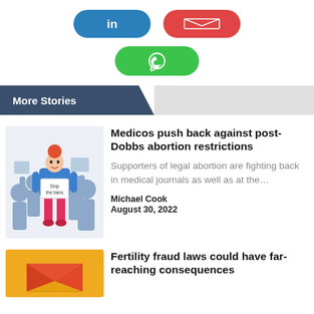[Figure (other): LinkedIn share button (blue pill shape with 'in' icon)]
[Figure (other): Email share button (red pill shape with envelope icon)]
[Figure (other): WhatsApp share button (green pill shape with phone/chat icon)]
More Stories
[Figure (illustration): Illustration of a person with red hair and blue sweater holding a sign reading 'Stop the bans' surrounded by protest crowd silhouettes]
Medicos push back against post-Dobbs abortion restrictions
Supporters of legal abortion are fighting back in medical journals as well as at the…
Michael Cook
August 30, 2022
[Figure (illustration): Partial illustration showing yellow/orange background with red element, partially cropped]
Fertility fraud laws could have far-reaching consequences